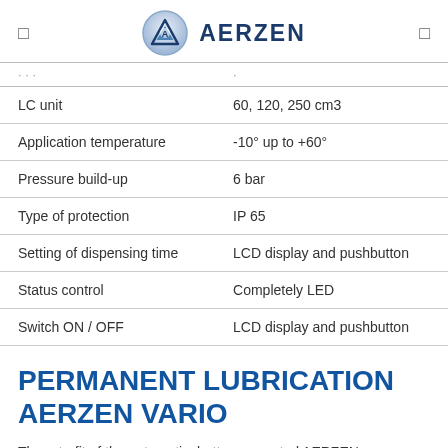AERZEN
| Property | Value |
| --- | --- |
| LC unit | 60, 120, 250 cm3 |
| Application temperature | -10° up to +60° |
| Pressure build-up | 6 bar |
| Type of protection | IP 65 |
| Setting of dispensing time | LCD display and pushbutton |
| Status control | Completely LED |
| Switch ON / OFF | LCD display and pushbutton |
PERMANENT LUBRICATION AERZEN VARIO
The retrofit of the automatic, battery operated AERZEN